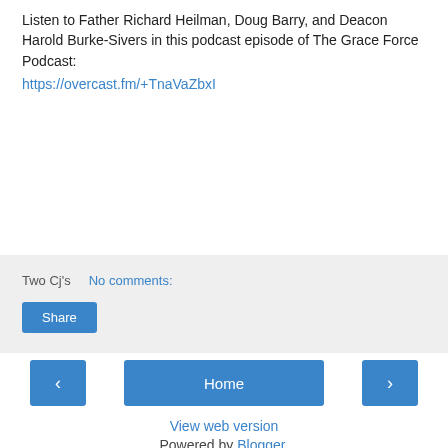Listen to Father Richard Heilman, Doug Barry, and Deacon Harold Burke-Sivers in this podcast episode of The Grace Force Podcast: https://overcast.fm/+TnaVaZbxI
Two Cj's
No comments:
Share
‹
Home
›
View web version
Powered by Blogger.